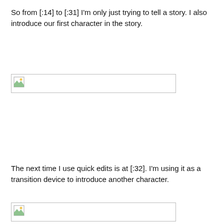So from [:14] to [:31] I'm only just trying to tell a story.  I also introduce our first character in the story.
[Figure (other): Broken image placeholder with border]
The next time I use quick edits is at [:32].  I'm using it as a transition device to introduce another character.
[Figure (other): Broken image placeholder with border]